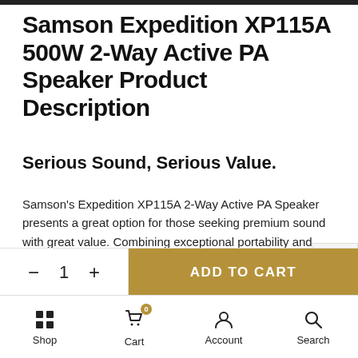Samson Expedition XP115A 500W 2-Way Active PA Speaker Product Description
Serious Sound, Serious Value.
Samson's Expedition XP115A 2-Way Active PA Speaker presents a great option for those seeking premium sound with great value. Combining exceptional portability and power, the XP115A is an ideal PA speaker for live sound setups. Perfect for
— 1 +   ADD TO CART
Shop   Cart 0   Account   Search